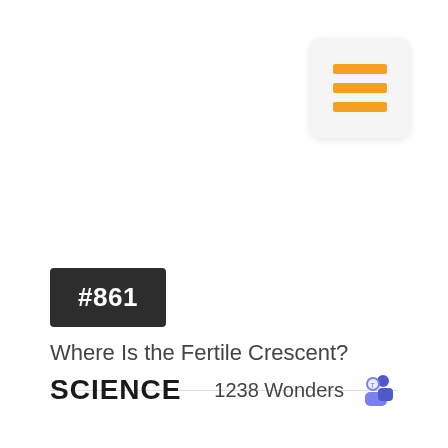[Figure (other): Hamburger menu icon with three orange horizontal bars on a light grey rounded square background]
#861
Where Is the Fertile Crescent?
SCIENCE
1238 Wonders
[Figure (logo): Microsoft Teams logo icon]